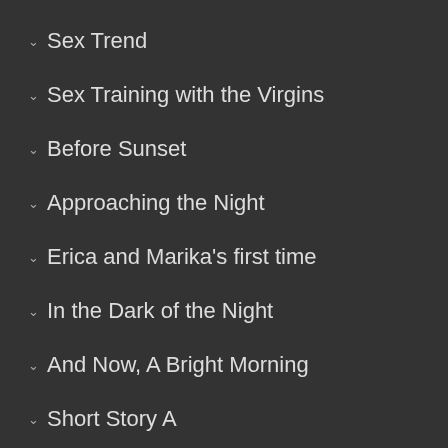Sex Trend
Sex Training with the Virgins
Before Sunset
Approaching the Night
Erica and Marika's first time
In the Dark of the Night
And Now, A Bright Morning
Short Story A
Short Story B